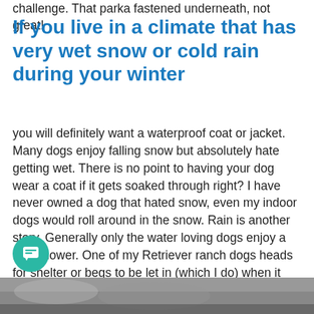challenge. That parka fastened underneath, not great!
If you live in a climate that has very wet snow or cold rain during your winter
you will definitely want a waterproof coat or jacket. Many dogs enjoy falling snow but absolutely hate getting wet. There is no point to having your dog wear a coat if it gets soaked through right? I have never owned a dog that hated snow, even my indoor dogs would roll around in the snow. Rain is another story. Generally only the water loving dogs enjoy a rain shower. One of my Retriever ranch dogs heads for shelter or begs to be let in (which I do) when it starts to rain.That particular dog will also avoid puddles.  My other Retriever dog loves water and does not mind a light shower but when it starts to pour, he wants in too!
[Figure (photo): Partial photo visible at the bottom of the page, appears to show a dog outdoors in winter/wet conditions.]